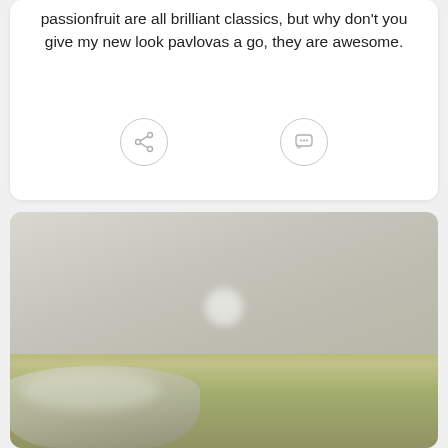passionfruit are all brilliant classics, but why don't you give my new look pavlovas a go, they are awesome.
[Figure (other): Two circular icon buttons: a share icon (network node symbol) and a comment/chat icon (speech bubble with three dots), both outlined in light grey on white background.]
[Figure (photo): A blurred photograph of a kitchen scene showing what appears to be a metal mixing bowl or pan on a counter, with a grey/beige wall in the background and a small white object visible on the counter.]